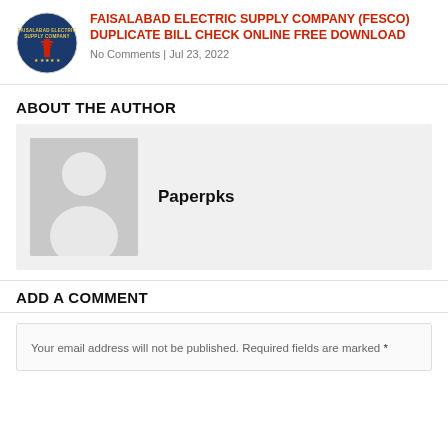FAISALABAD ELECTRIC SUPPLY COMPANY (FESCO) DUPLICATE BILL CHECK ONLINE FREE DOWNLOAD
No Comments | Jul 23, 2022
ABOUT THE AUTHOR
[Figure (illustration): Default avatar placeholder image — grey background with white silhouette of a person]
Paperpks
ADD A COMMENT
Your email address will not be published. Required fields are marked *